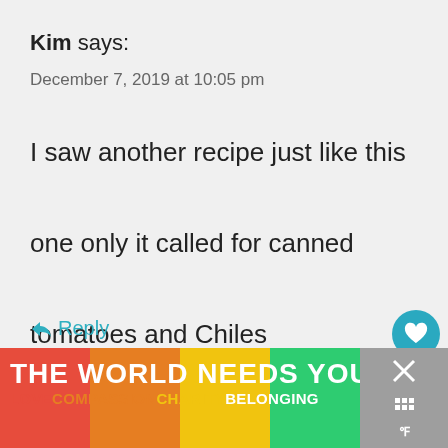Kim says:
December 7, 2019 at 10:05 pm
I saw another recipe just like this one only it called for canned tomatoes and Chiles
Reply
[Figure (screenshot): Advertisement banner at bottom: THE WORLD NEEDS YOU with rainbow background, LOVE COMPASSION CHARITY BELONGING text]
[Figure (infographic): Floating action buttons: heart/like button (teal) with count 74, and share button]